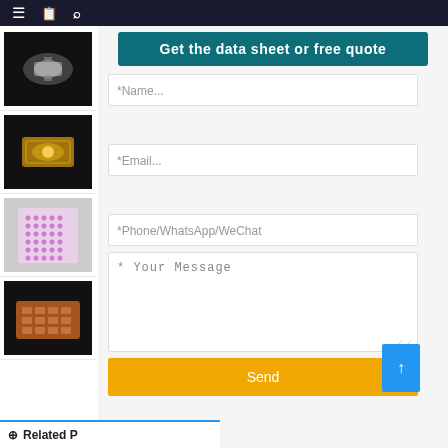[Figure (screenshot): Navigation bar with hamburger menu, book icon, and search icon on dark background]
[Figure (photo): Thumbnail image of a clear/transparent LED chip component on black background]
[Figure (photo): Thumbnail image of a gold-colored LED chip/package on black background]
[Figure (photo): Thumbnail image of pink/purple LED array on light grey background]
[Figure (photo): Thumbnail image of orange/copper LED tray with multiple chips on black background]
[Figure (screenshot): Web form with teal 'Get the data sheet or free quote' button, Name, Email, Phone/WhatsApp/WeChat fields, message area, and yellow Send button with blue scroll-to-top button]
Related